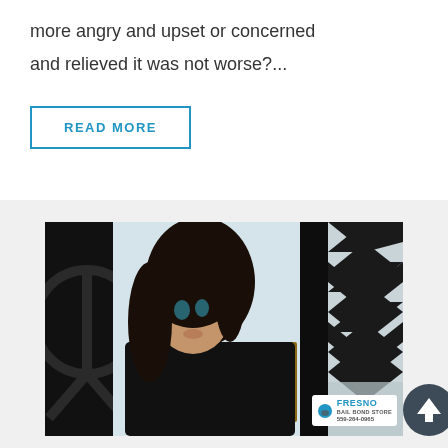more angry and upset or concerned and relieved it was not worse?...
READ MORE
[Figure (photo): Young woman with long dark hair sitting in a cafe or indoor space with geometric black and white patterns in the background. She is wearing a black top and looking to the side. A Fresno Bail Bond Store watermark/logo is visible in the bottom right corner of the image.]